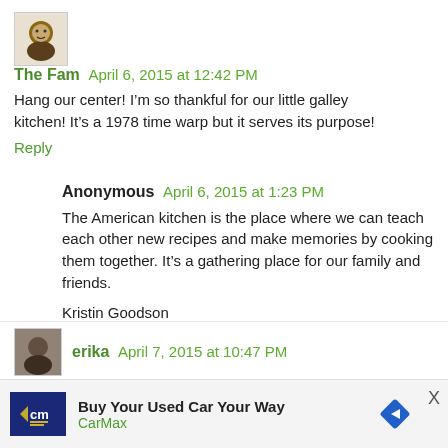[Figure (photo): Small avatar image of a cartoon/illustrated character]
The Fam  April 6, 2015 at 12:42 PM
Hang our center! I'm so thankful for our little galley kitchen! It's a 1978 time warp but it serves its purpose!
Reply
Anonymous  April 6, 2015 at 1:23 PM
The American kitchen is the place where we can teach each other new recipes and make memories by cooking them together. It's a gathering place for our family and friends.

Kristin Goodson
marleykristin@hotmail.com
Reply
[Figure (photo): Small avatar photo of erika]
erika  April 7, 2015 at 10:47 PM
[Figure (infographic): CarMax advertisement banner: Buy Your Used Car Your Way]